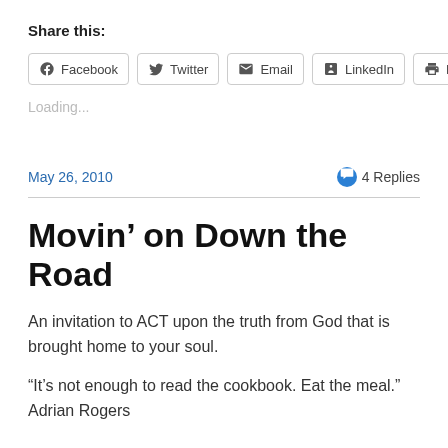Share this:
Facebook  Twitter  Email  LinkedIn  Print
Loading...
May 26, 2010
4 Replies
Movin’ on Down the Road
An invitation to ACT upon the truth from God that is brought home to your soul.
“It’s not enough to read the cookbook. Eat the meal.” Adrian Rogers